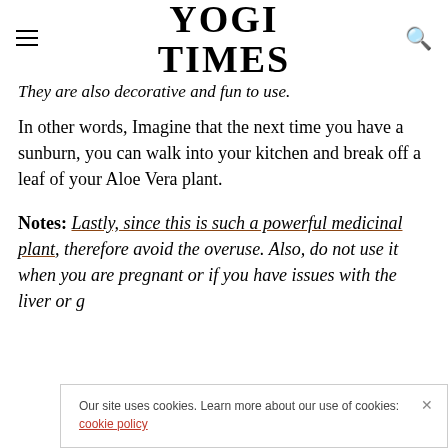YOGI TIMES
They are also decorative and fun to use.
In other words, Imagine that the next time you have a sunburn, you can walk into your kitchen and break off a leaf of your Aloe Vera plant.
Notes: Lastly, since this is such a powerful medicinal plant, therefore avoid the overuse. Also, do not use it when you are pregnant or if you have issues with the liver or g
Our site uses cookies. Learn more about our use of cookies: cookie policy